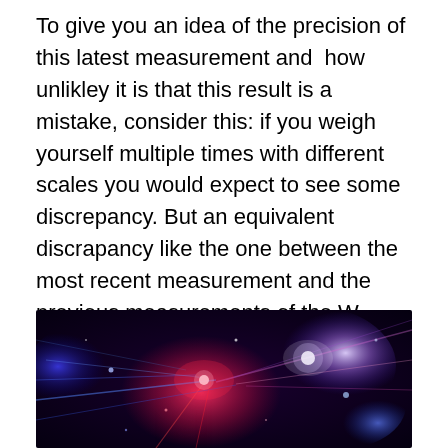To give you an idea of the precision of this latest measurement and  how unlikley it is that this result is a mistake, consider this: if you weigh yourself multiple times with different scales you would expect to see some discrepancy. But an equivalent discrapancy like the one between the most recent measurement and the previous measurements of the W boson's mass, would statistically occur only after you've weighed yourself 1 billion times.
[Figure (photo): Colorful particle physics / space image with blue, red, and purple light streaks and glowing spots on a dark background, suggestive of a particle collision or cosmic event.]